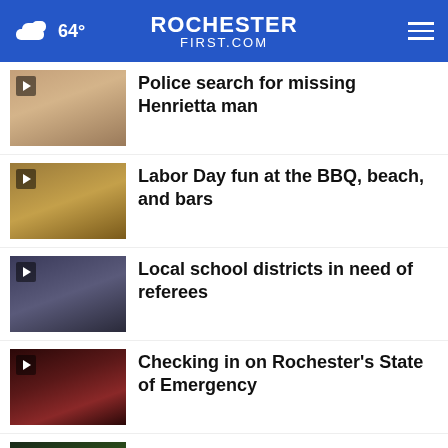64° ROCHESTER FIRST.COM
Police search for missing Henrietta man
Labor Day fun at the BBQ, beach, and bars
Local school districts in need of referees
Checking in on Rochester's State of Emergency
Local unions on modern challenges faced by workers
FREE, FAST DELIVERY * *35 Minimum